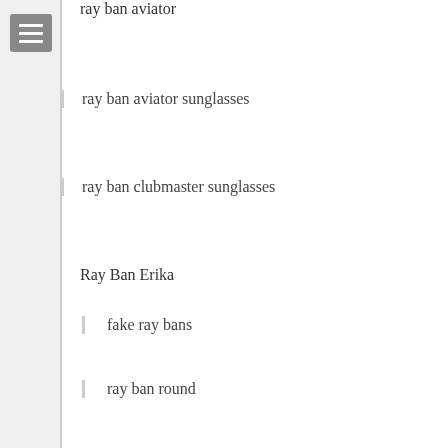ray ban aviator
ray ban aviator sunglasses
ray ban clubmaster sunglasses
Ray Ban Erika
fake ray bans
ray ban round
ray ban sunglasses womens
ray ban womens
womens ray ban sunglasses